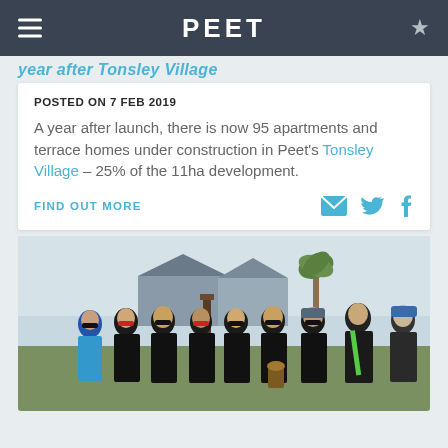PEET
year after Tonsley Village
POSTED ON 7 FEB 2019
A year after launch, there is now 95 apartments and terrace homes under construction in Peet's Tonsley Village – 25% of the 11ha development.
FIND OUT MORE
[Figure (photo): Group of cyclists in black team jerseys standing together outdoors, one holding a trophy. A person in a blue cap stands at right. Residential houses and a palm tree visible in background.]